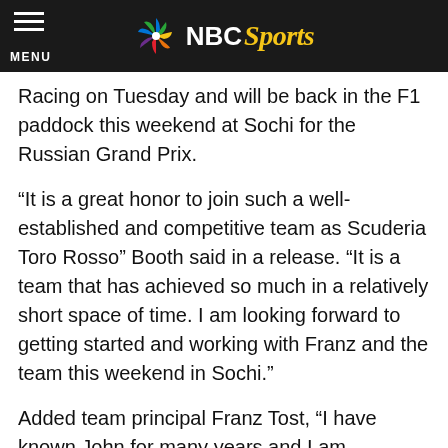NBC Sports
Racing on Tuesday and will be back in the F1 paddock this weekend at Sochi for the Russian Grand Prix.
“It is a great honor to join such a well-established and competitive team as Scuderia Toro Rosso” Booth said in a release. “It is a team that has achieved so much in a relatively short space of time. I am looking forward to getting started and working with Franz and the team this weekend in Sochi.”
Added team principal Franz Tost, “I have known John for many years and I am delighted to welcome him to the team. Formula 1 is becoming ever more complex, with recent changes on the tire front, car set-up, radio communications and so forth. Therefore, having a competitive car and talented drivers, both of which we have, on its own is not enough. With his vast experience I